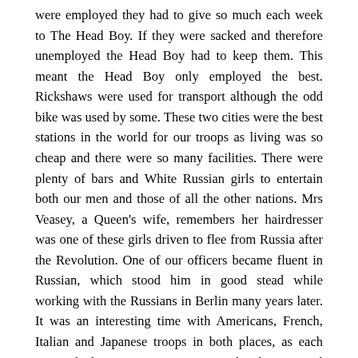were employed they had to give so much each week to The Head Boy. If they were sacked and therefore unemployed the Head Boy had to keep them. This meant the Head Boy only employed the best. Rickshaws were used for transport although the odd bike was used by some. These two cities were the best stations in the world for our troops as living was so cheap and there were so many facilities. There were plenty of bars and White Russian girls to entertain both our men and those of all the other nations. Mrs Veasey, a Queen's wife, remembers her hairdresser was one of these girls driven to flee from Russia after the Revolution. One of our officers became fluent in Russian, which stood him in good stead while working with the Russians in Berlin many years later. It was an interesting time with Americans, French, Italian and Japanese troops in both places, as each nation had its own Concession with Chinese civil police. This was part of the treaty after the Boxer Rebellion.